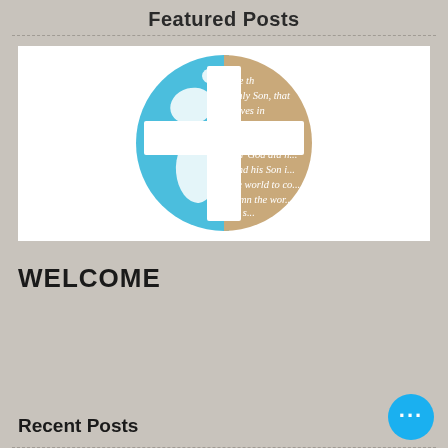Featured Posts
[Figure (logo): Religious logo with a blue globe showing the Americas overlaid with a white cross, and the right half showing a tan/gold circle with Biblical text (John 3:16 passage) in white italic script.]
WELCOME
Recent Posts